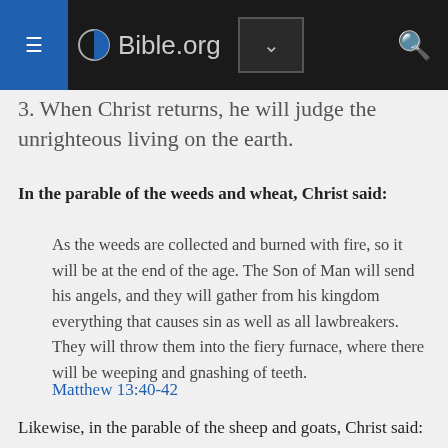Bible.org
3. When Christ returns, he will judge the unrighteous living on the earth.
In the parable of the weeds and wheat, Christ said:
As the weeds are collected and burned with fire, so it will be at the end of the age. The Son of Man will send his angels, and they will gather from his kingdom everything that causes sin as well as all lawbreakers. They will throw them into the fiery furnace, where there will be weeping and gnashing of teeth.
Matthew 13:40-42
Likewise, in the parable of the sheep and goats, Christ said:
When the Son of Man comes in his glory and all the